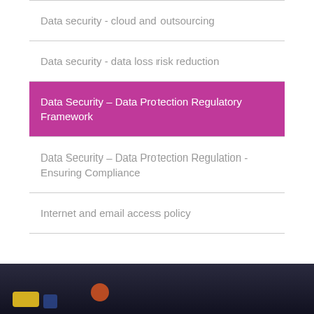Data security - cloud and outsourcing
Data security - data loss risk reduction
Data Security – Data Protection Regulatory Framework
Data Security – Data Protection Regulation - Ensuring Compliance
Internet and email access policy
[Figure (photo): Dark strip at the bottom of the page showing a blurred background with colorful objects (yellow, blue, orange) and a person in the background]